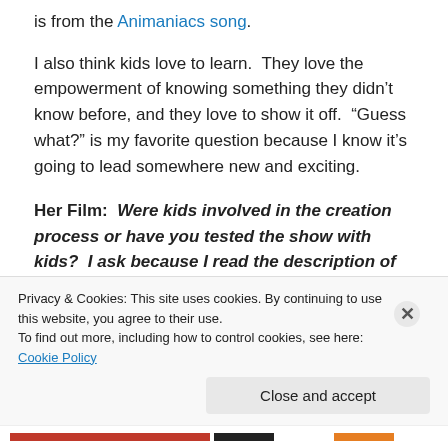is from the Animaniacs song.
I also think kids love to learn.  They love the empowerment of knowing something they didn't know before, and they love to show it off.  “Guess what?” is my favorite question because I know it’s going to lead somewhere new and exciting.
Her Film:  Were kids involved in the creation process or have you tested the show with kids?  I ask because I read the description of the show to my 11 year old nephew and he thought it sounded cool (his words)
Privacy & Cookies: This site uses cookies. By continuing to use this website, you agree to their use.
To find out more, including how to control cookies, see here: Cookie Policy
Close and accept